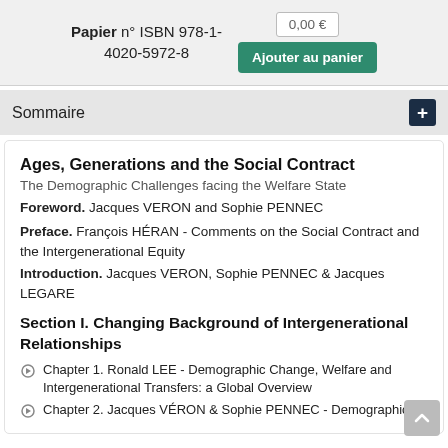Papier n° ISBN 978-1-4020-5972-8   0,00 €   Ajouter au panier
Sommaire
Ages, Generations and the Social Contract
The Demographic Challenges facing the Welfare State
Foreword. Jacques VERON and Sophie PENNEC
Preface. François HÉRAN - Comments on the Social Contract and the Intergenerational Equity
Introduction. Jacques VERON, Sophie PENNEC & Jacques LEGARE
Section I. Changing Background of Intergenerational Relationships
Chapter 1. Ronald LEE - Demographic Change, Welfare and Intergenerational Transfers: a Global Overview
Chapter 2. Jacques VÉRON & Sophie PENNEC - Demographic